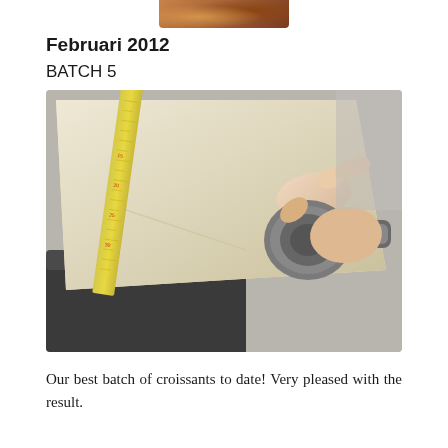[Figure (photo): Partial top of a baked croissant photo, cropped at the top of the page]
Februari 2012
BATCH 5
[Figure (photo): A hand holding a measuring tape against a flat sheet of rolled croissant dough on a dark metal work surface. The yellow tape measure runs diagonally across the pale dough.]
Our best batch of croissants to date! Very pleased with the result.